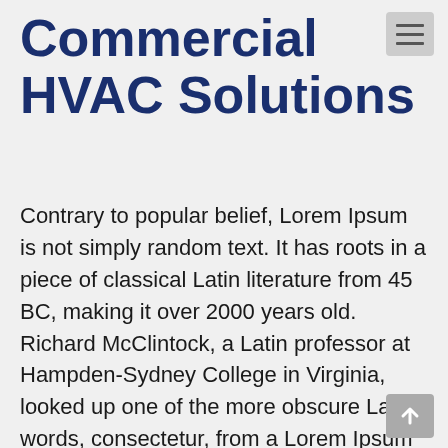Commercial HVAC Solutions
Contrary to popular belief, Lorem Ipsum is not simply random text. It has roots in a piece of classical Latin literature from 45 BC, making it over 2000 years old. Richard McClintock, a Latin professor at Hampden-Sydney College in Virginia, looked up one of the more obscure Latin words, consectetur, from a Lorem Ipsum passage, and going through the cites of the word in classical literature, discovered the undoubtable source. Lorem Ipsum comes from sections 1.10.32 and 1.10.33 of “de